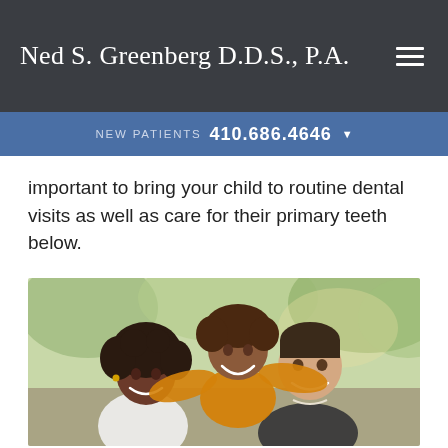Ned S. Greenberg D.D.S., P.A.
NEW PATIENTS  410.686.4646
important to bring your child to routine dental visits as well as care for their primary teeth below.
[Figure (photo): A smiling family of three outdoors — a woman with curly dark hair, a child in an orange/yellow sweater riding on the back of a man in a dark sweater, with green foliage in the background.]